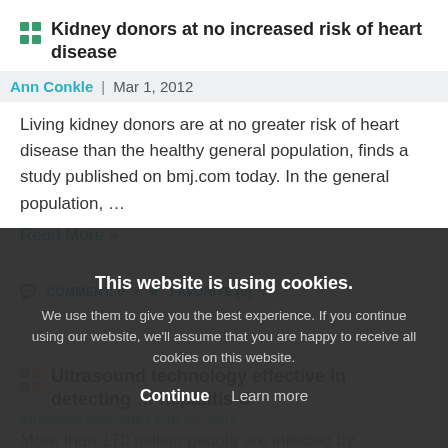Kidney donors at no increased risk of heart disease
Ann Conkle | Mar 1, 2012
Living kidney donors are at no greater risk of heart disease than the healthy general population, finds a study published on bmj.com today. In the general population, ...
Read More »
COMMENT: 0 | ★ FAVORITE (0) |
Ultrasound technology effective in detecting ... hepatitis C
Elisabeth Manulife | Feb 29, 2012
More than 170 million people are infected by ... excellent ac... sound-based transient elastography (TE) in diagnosing cirrhosis of the liver due to the ... Read More
This website is using cookies. We use them to give you the best experience. If you continue using our website, we'll assume that you are happy to receive all cookies on this website.
Continue   Learn more